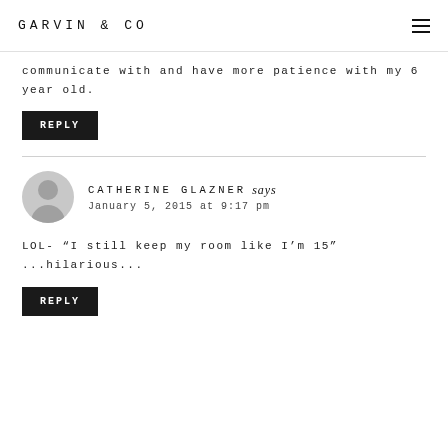GARVIN & CO
communicate with and have more patience with my 6 year old.
REPLY
CATHERINE GLAZNER says
January 5, 2015 at 9:17 pm
LOL- "I still keep my room like I'm 15" ...hilarious...
REPLY